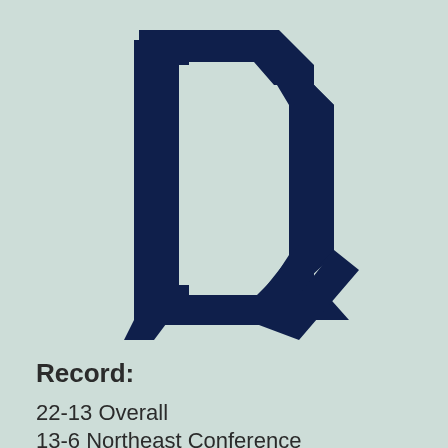[Figure (logo): Dark navy blue stylized D letter logo with angular geometric design on a light teal/mint background]
Record:
22-13 Overall
13-6 Northeast Conference